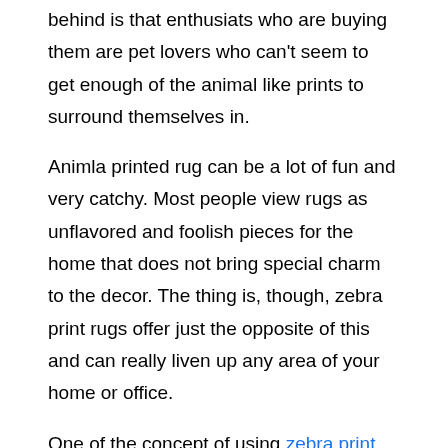behind is that enthusiats who are buying them are pet lovers who can't seem to get enough of the animal like prints to surround themselves in.
Animla printed rug can be a lot of fun and very catchy. Most people view rugs as unflavored and foolish pieces for the home that does not bring special charm to the decor. The thing is, though, zebra print rugs offer just the opposite of this and can really liven up any area of your home or office.
One of the concept of using zebra print rug is their uniqueness to merge adding form and function together. Edit this text have successfullly transform a means to deliver a practical piece of art that will provide protection to your floors while also expose your personal characteristic and style in the room. Due to the uniqueness, you are guaranteed an appealing piece that can even serve as a nice conversation starter if you need it to.